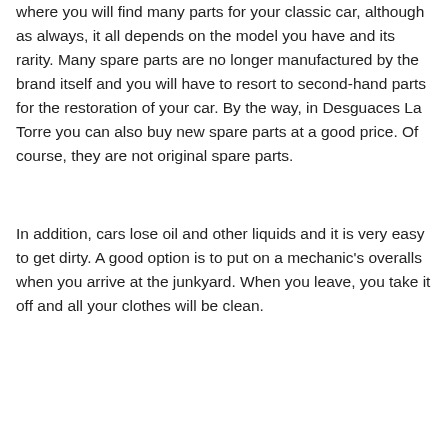where you will find many parts for your classic car, although as always, it all depends on the model you have and its rarity. Many spare parts are no longer manufactured by the brand itself and you will have to resort to second-hand parts for the restoration of your car. By the way, in Desguaces La Torre you can also buy new spare parts at a good price. Of course, they are not original spare parts.
In addition, cars lose oil and other liquids and it is very easy to get dirty. A good option is to put on a mechanic's overalls when you arrive at the junkyard. When you leave, you take it off and all your clothes will be clean.